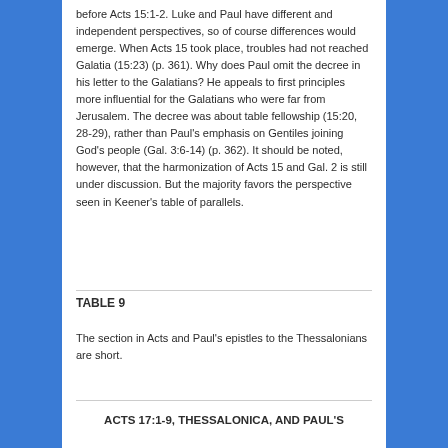before Acts 15:1-2. Luke and Paul have different and independent perspectives, so of course differences would emerge. When Acts 15 took place, troubles had not reached Galatia (15:23) (p. 361). Why does Paul omit the decree in his letter to the Galatians? He appeals to first principles more influential for the Galatians who were far from Jerusalem. The decree was about table fellowship (15:20, 28-29), rather than Paul's emphasis on Gentiles joining God's people (Gal. 3:6-14) (p. 362). It should be noted, however, that the harmonization of Acts 15 and Gal. 2 is still under discussion. But the majority favors the perspective seen in Keener's table of parallels.
TABLE 9
The section in Acts and Paul's epistles to the Thessalonians are short.
ACTS 17:1-9, THESSALONICA, AND PAUL'S